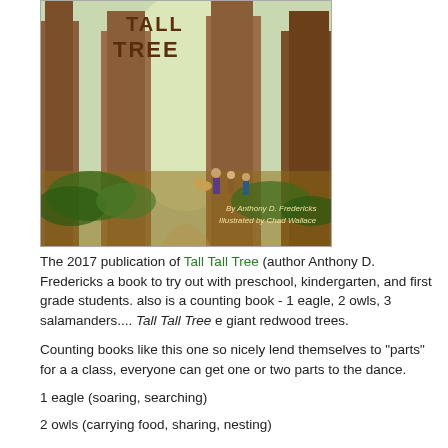[Figure (illustration): Book cover of 'Tall Tall Tree' showing a forest of giant redwood trees with small figures of people and a deer on a path. Text on cover: 'By Anthony D. Fredericks, Illustrated by Chad Wallace']
The 2017 publication of Tall Tall Tree (author Anthony D. Fredericks a book to try out with preschool, kindergarten, and first grade students. also is a counting book - 1 eagle, 2 owls, 3 salamanders.... Tall Tall Tree e giant redwood trees.
Counting books like this one so nicely lend themselves to "parts" for a a class, everyone can get one or two parts to the dance.
1 eagle (soaring, searching)
2 owls (carrying food, sharing, nesting)